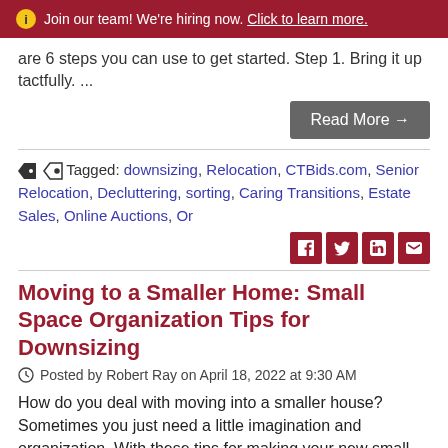ⓘ Join our team! We're hiring now. Click to learn more.
are 6 steps you can use to get started. Step 1. Bring it up tactfully. ...
Read More →
Tagged: downsizing, Relocation, CTBids.com, Senior Relocation, Decluttering, sorting, Caring Transitions, Estate Sales, Online Auctions, Or
Moving to a Smaller Home: Small Space Organization Tips for Downsizing
Posted by Robert Ray on April 18, 2022 at 9:30 AM
How do you deal with moving into a smaller house? Sometimes you just need a little imagination and organization. With these tips for making your new small space work for you, you'll soon be enjoying